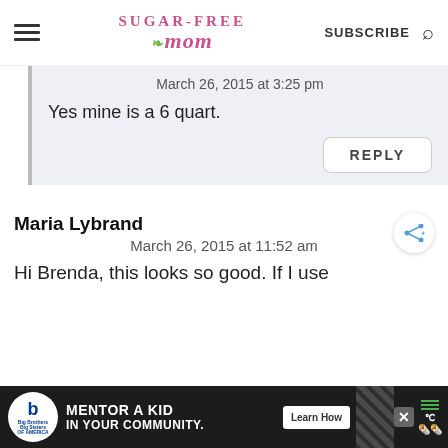Sugar-Free Mom | SUBSCRIBE
March 26, 2015 at 3:25 pm
Yes mine is a 6 quart.
REPLY
Maria Lybrand
March 26, 2015 at 11:52 am
Hi Brenda, this looks so good. If I use
MENTOR A KID IN YOUR COMMUNITY. Learn How